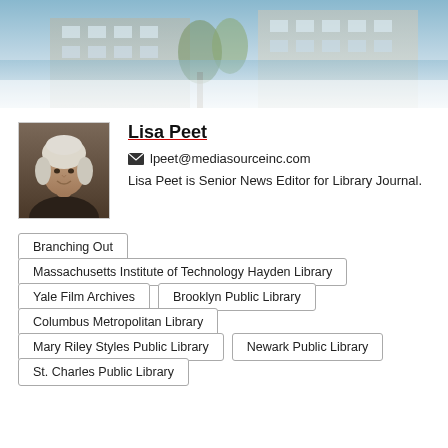[Figure (photo): Banner photo of a building exterior with trees]
[Figure (photo): Black and white profile photo of Lisa Peet]
Lisa Peet
lpeet@mediasourceinc.com
Lisa Peet is Senior News Editor for Library Journal.
Branching Out
Massachusetts Institute of Technology Hayden Library
Yale Film Archives
Brooklyn Public Library
Columbus Metropolitan Library
Mary Riley Styles Public Library
Newark Public Library
St. Charles Public Library